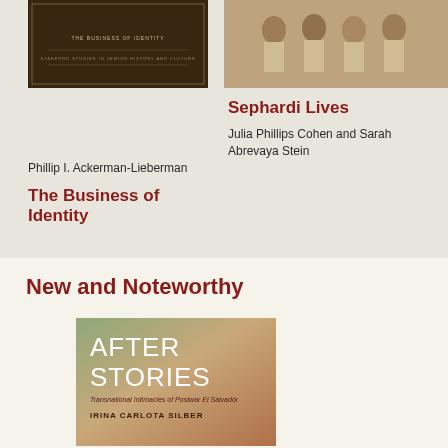[Figure (photo): Book cover for 'The Business of Identity' — dark brown cover with text about Jewish History and Culture]
The Business of Identity
Phillip I. Ackerman-Lieberman
[Figure (photo): Black and white historical photograph showing a group of girls in sailor uniforms]
Sephardi Lives
Julia Phillips Cohen and Sarah Abrevaya Stein
New and Noteworthy
[Figure (photo): Book cover for 'After Stories: Transnational Intimacies of Postwar El Salvador' by Irina Carlota Silber — earthy green, tan and terracotta tones with large white title text]